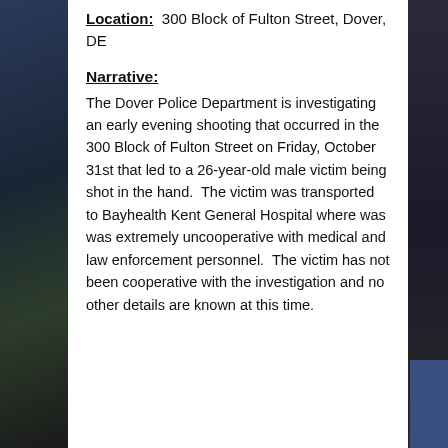Location: 300 Block of Fulton Street, Dover, DE
Narrative:
The Dover Police Department is investigating an early evening shooting that occurred in the 300 Block of Fulton Street on Friday, October 31st that led to a 26-year-old male victim being shot in the hand. The victim was transported to Bayhealth Kent General Hospital where was was extremely uncooperative with medical and law enforcement personnel. The victim has not been cooperative with the investigation and no other details are known at this time.